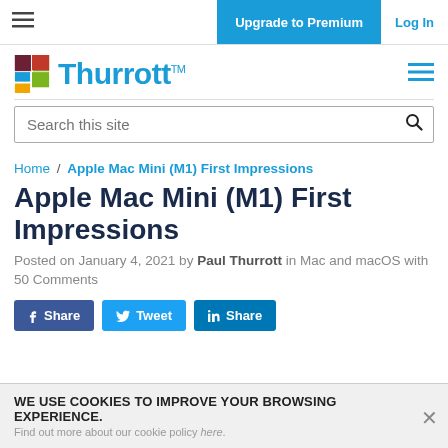≡  Upgrade to Premium  Log In
[Figure (logo): Thurrott logo with colorful T icon and blue Thurrott text with TM mark]
Search this site
Home / Apple Mac Mini (M1) First Impressions
Apple Mac Mini (M1) First Impressions
Posted on January 4, 2021 by Paul Thurrott in Mac and macOS with 50 Comments
f Share   Tweet   in Share
WE USE COOKIES TO IMPROVE YOUR BROWSING EXPERIENCE.
Find out more about our cookie policy here.